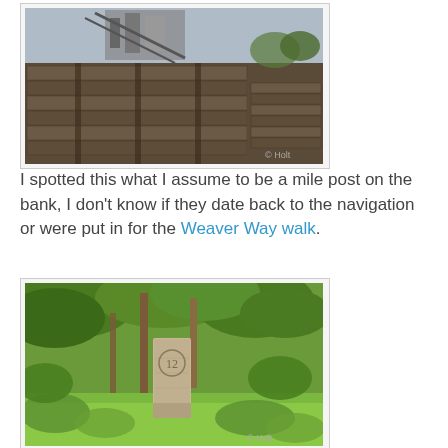[Figure (photo): Industrial building or structure with wooden facade and machinery at the top, photographed against a grey sky. Watermark: © Holt]
I spotted this what I assume to be a mile post on the bank, I don't know if they date back to the navigation or were put in for the Weaver Way walk.
[Figure (photo): A stone mile post marked with the number 12, standing in overgrown vegetation with trees behind it. Watermark: © Holt]